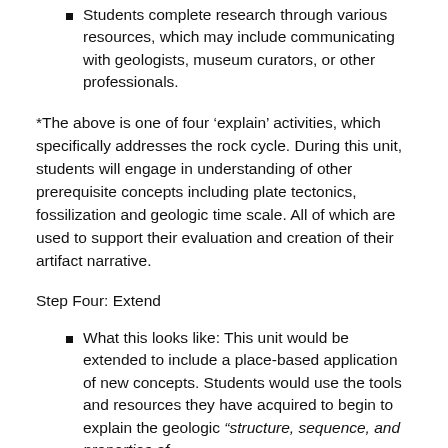Students complete research through various resources, which may include communicating with geologists, museum curators, or other professionals.
*The above is one of four ‘explain’ activities, which specifically addresses the rock cycle. During this unit, students will engage in understanding of other prerequisite concepts including plate tectonics, fossilization and geologic time scale. All of which are used to support their evaluation and creation of their artifact narrative.
Step Four: Extend
What this looks like: This unit would be extended to include a place-based application of new concepts. Students would use the tools and resources they have acquired to begin to explain the geologic “structure, sequence, and properties of